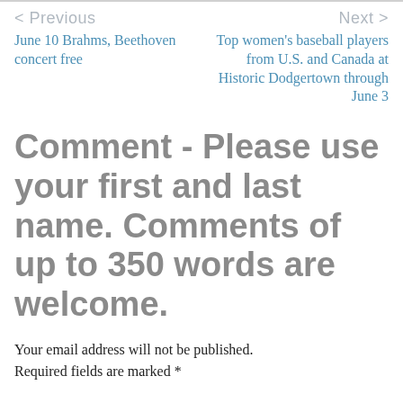< Previous   Next >
June 10 Brahms, Beethoven concert free
Top women's baseball players from U.S. and Canada at Historic Dodgertown through June 3
Comment - Please use your first and last name. Comments of up to 350 words are welcome.
Your email address will not be published.
Required fields are marked *